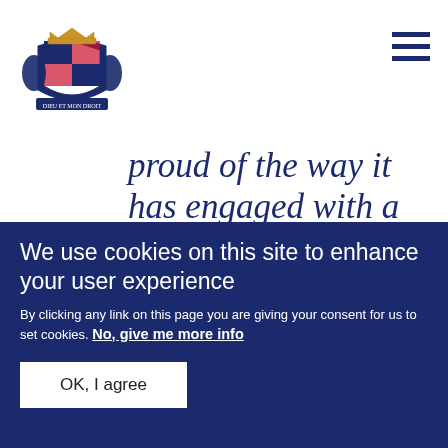[Figure (logo): Royal crest / coat of arms logo in navy blue]
proud of the way it has engaged with a broad audience across Wales and beyond
A speech by The Queen
We use cookies on this site to enhance your user experience
By clicking any link on this page you are giving your consent for us to set cookies. No, give me more info
OK, I agree